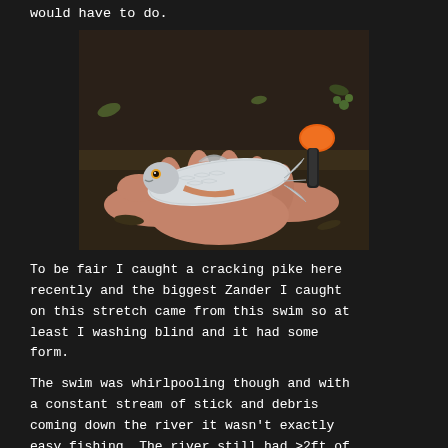would have to do.
[Figure (photo): A small fish (roach or similar) held in a person's hand outdoors, with an orange and black object visible in the background on the ground.]
To be fair I caught a cracking pike here recently and the biggest Zander I caught on this stretch came from this swim so at least I washing blind and it had some form.
The swim was whirlpooling though and with a constant stream of stick and debris coming down the river it wasn't exactly easy fishing. The river still had >2ft of visibility so I knew sundown and when the light levels dropped that would be the